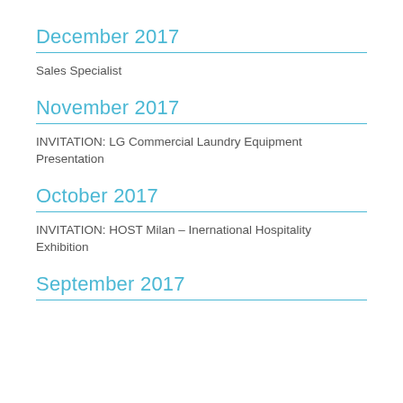December 2017
Sales Specialist
November 2017
INVITATION: LG Commercial Laundry Equipment Presentation
October 2017
INVITATION: HOST Milan – Inernational Hospitality Exhibition
September 2017